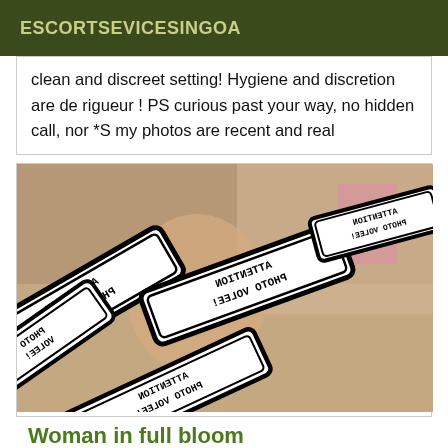ESCORTSEVICESINGOA
clean and discreet setting! Hygiene and discretion are de rigueur ! PS curious past your way, no hidden call, nor *S my photos are recent and real
[Figure (photo): Photo showing a person partially obscured by overlapping warning signs with mirrored/inverted text reading 'ATTENTION PHOTO VOLEE!' (Attention Stolen Photo) in bold black text on white rectangular signs with black borders. Several signs overlap at different angles.]
Woman in full bloom
Escortfish escorts Wheeling